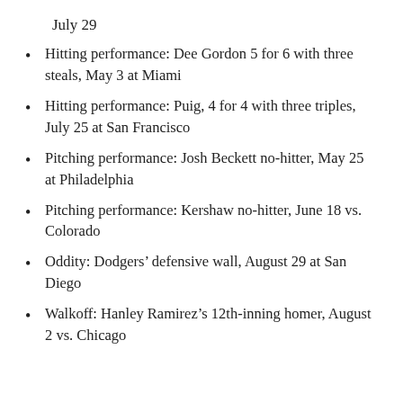July 29
Hitting performance: Dee Gordon 5 for 6 with three steals, May 3 at Miami
Hitting performance: Puig, 4 for 4 with three triples, July 25 at San Francisco
Pitching performance: Josh Beckett no-hitter, May 25 at Philadelphia
Pitching performance: Kershaw no-hitter, June 18 vs. Colorado
Oddity: Dodgers’ defensive wall, August 29 at San Diego
Walkoff: Hanley Ramirez’s 12th-inning homer, August 2 vs. Chicago